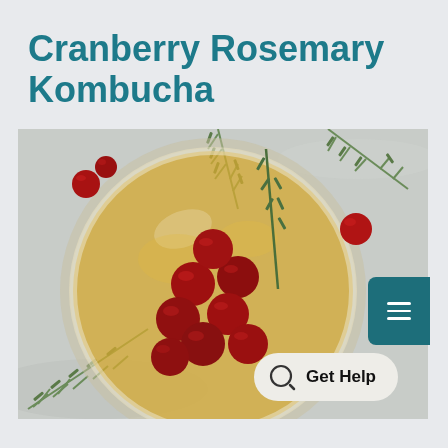Cranberry Rosemary Kombucha
[Figure (photo): Overhead view of a glass mason jar filled with golden kombucha, floating red cranberries and a sprig of fresh rosemary inside. Surrounding the glass on a light marble surface are additional fresh cranberries and rosemary sprigs. A dark teal hamburger menu button is visible in the upper right area of the photo, and a 'Get Help' chat button appears in the lower right corner.]